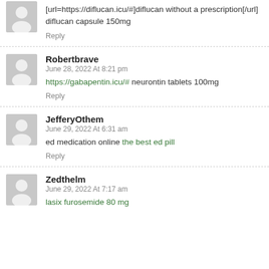[url=https://diflucan.icu/#]diflucan without a prescription[/url] diflucan capsule 150mg
Reply
Robertbrave
June 28, 2022 At 8:21 pm
https://gabapentin.icu/# neurontin tablets 100mg
Reply
JefferyOthem
June 29, 2022 At 6:31 am
ed medication online the best ed pill
Reply
Zedthelm
June 29, 2022 At 7:17 am
lasix furosemide 80 mg